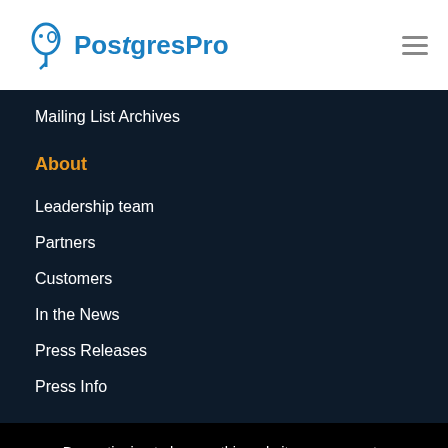PostgresPro
Mailing List Archives
About
Leadership team
Partners
Customers
In the News
Press Releases
Press Info
By continuing to browse this website, you agree to the use of cookies. Go to Privacy Policy.
I accept cookies